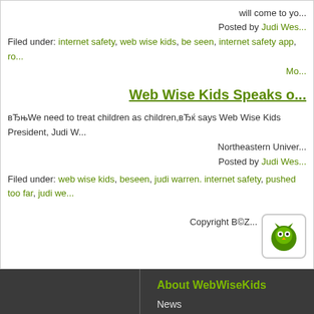will come to yo... Posted by Judi Wes...
Filed under: internet safety, web wise kids, be seen, internet safety app, ro... Mo...
Web Wise Kids Speaks o...
“We need to treat children as children,” says Web Wise Kids President, Judi W... Northeastern Univer... Posted by Judi Wes...
Filed under: web wise kids, beseen, judi warren. internet safety, pushed too far, judi we...
Copyright B©Z...
[Figure (logo): WebWiseKids logo icon - green owl on white background with rounded border]
WebWiseKids
About WebWiseKids
News
Events
Blog